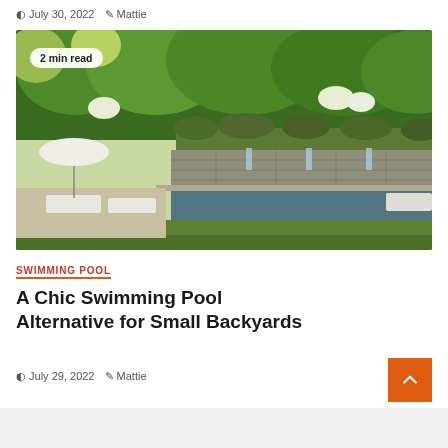July 30, 2022  Mattie
[Figure (photo): Elegant small backyard pool with stone waterfall wall, white lounge chairs, umbrella, and lush green hedges]
SWIMMING POOL
A Chic Swimming Pool Alternative for Small Backyards
July 29, 2022  Mattie